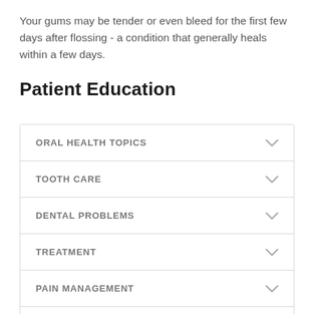Your gums may be tender or even bleed for the first few days after flossing - a condition that generally heals within a few days.
Patient Education
ORAL HEALTH TOPICS
TOOTH CARE
DENTAL PROBLEMS
TREATMENT
PAIN MANAGEMENT
PATIENT INFORMATION